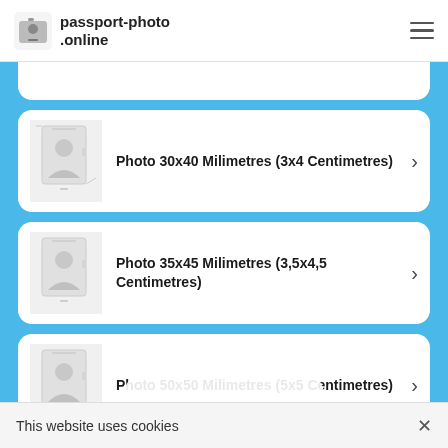passport-photo.online
Photo 30x40 Milimetres (3x4 Centimetres)
Photo 35x45 Milimetres (3,5x4,5 Centimetres)
Photo 50x50 Milimetres (5x5 Centimetres)
This website uses cookies